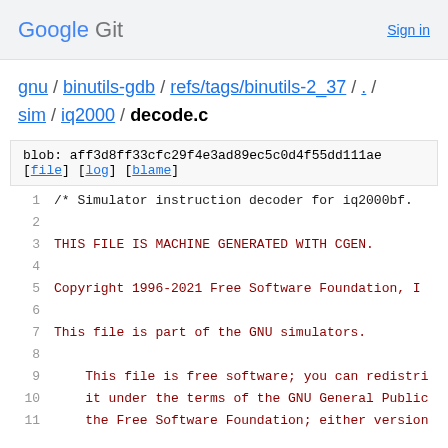Google Git   Sign in
gnu / binutils-gdb / refs/tags/binutils-2_37 / . / sim / iq2000 / decode.c
blob: aff3d8ff33cfc29f4e3ad89ec5c0d4f55dd111ae
[file] [log] [blame]
1  /* Simulator instruction decoder for iq2000bf.
2
3  THIS FILE IS MACHINE GENERATED WITH CGEN.
4
5  Copyright 1996-2021 Free Software Foundation, I
6
7  This file is part of the GNU simulators.
8
9      This file is free software; you can redistri
10      it under the terms of the GNU General Public
11      the Free Software Foundation; either version